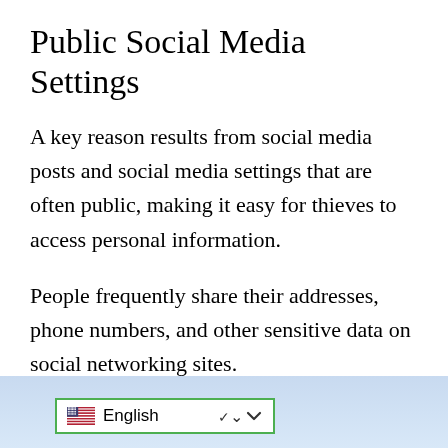Public Social Media Settings
A key reason results from social media posts and social media settings that are often public, making it easy for thieves to access personal information.
People frequently share their addresses, phone numbers, and other sensitive data on social networking sites.
This provides thieves with a wealth of information that they can use to commit identity theft.
[Figure (screenshot): Bottom bar with a light blue gradient background containing an English language selector dropdown with US flag icon, green border, and a chevron/arrow indicator.]